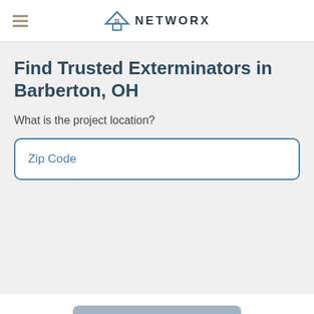NETWORX
Find Trusted Exterminators in Barberton, OH
What is the project location?
Zip Code
Next